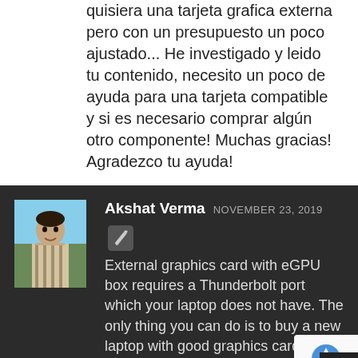quisiera una tarjeta grafica externa pero con un presupuesto un poco ajustado... He investigado y leido tu contenido, necesito un poco de ayuda para una tarjeta compatible y si es necesario comprar algún otro componente! Muchas gracias! Agradezco tu ayuda!
[Figure (photo): Profile photo of Akshat Verma - a man in a striped shirt]
Akshat Verma NOVEMBER 23, 2019 External graphics card with eGPU box requires a Thunderbolt port which your laptop does not have. The only thing you can do is to buy a new laptop with good graphics card, preferably GTX 1660 Ti.